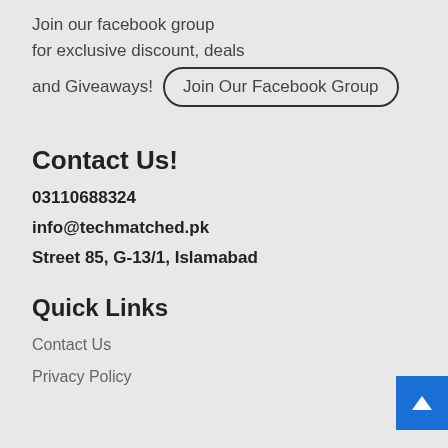Join our facebook group for exclusive discount, deals and Giveaways! Join Our Facebook Group
Contact Us!
03110688324
info@techmatched.pk
Street 85, G-13/1, Islamabad
Quick Links
Contact Us
Privacy Policy